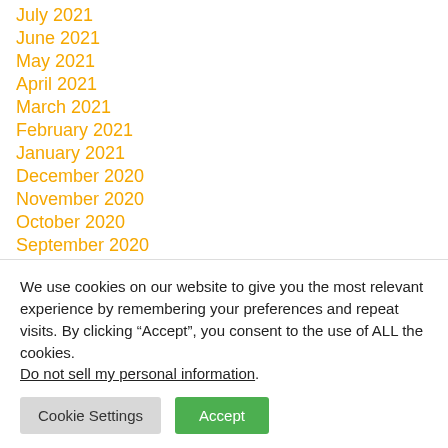July 2021
June 2021
May 2021
April 2021
March 2021
February 2021
January 2021
December 2020
November 2020
October 2020
September 2020
August 2020
July 2020
June 2020
May 2020 (partially visible)
We use cookies on our website to give you the most relevant experience by remembering your preferences and repeat visits. By clicking “Accept”, you consent to the use of ALL the cookies. Do not sell my personal information.